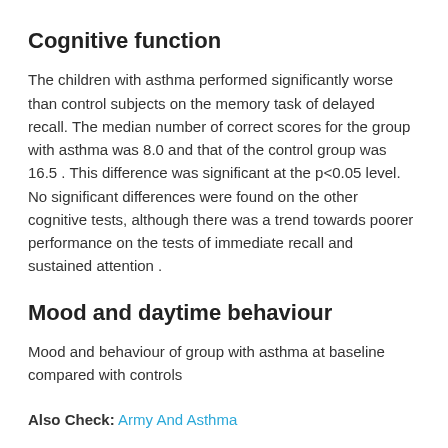Cognitive function
The children with asthma performed significantly worse than control subjects on the memory task of delayed recall. The median number of correct scores for the group with asthma was 8.0 and that of the control group was 16.5 . This difference was significant at the p<0.05 level. No significant differences were found on the other cognitive tests, although there was a trend towards poorer performance on the tests of immediate recall and sustained attention .
Mood and daytime behaviour
Mood and behaviour of group with asthma at baseline compared with controls
Also Check: Army And Asthma